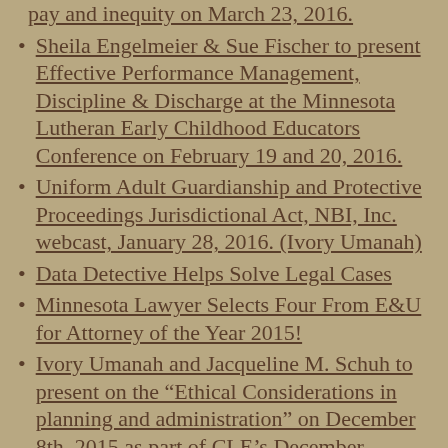pay and inequity on March 23, 2016.
Sheila Engelmeier & Sue Fischer to present Effective Performance Management, Discipline & Discharge at the Minnesota Lutheran Early Childhood Educators Conference on February 19 and 20, 2016.
Uniform Adult Guardianship and Protective Proceedings Jurisdictional Act, NBI, Inc. webcast, January 28, 2016. (Ivory Umanah)
Data Detective Helps Solve Legal Cases
Minnesota Lawyer Selects Four From E&U for Attorney of the Year 2015!
Ivory Umanah and Jacqueline M. Schuh to present on the “Ethical Considerations in planning and administration” on December 8th, 2015 as part of CLE’s December Webcast Series.
Sheila Engelmeier will be presenting “Managing